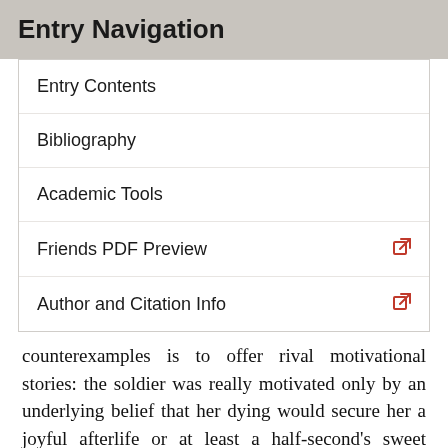Entry Navigation
Entry Contents
Bibliography
Academic Tools
Friends PDF Preview
Author and Citation Info
counterexamples is to offer rival motivational stories: the soldier was really motivated only by an underlying belief that her dying would secure her a joyful afterlife or at least a half-second's sweet pleasure of hero's self-sacrifice; the parent was actually motivated only by his own pleasurable intention to give the child a good start or by his expectation that his now having this intention will somehow cause him to have pleasure later; the dying non-believer in any afterlife in fact hangs on only because she really believes that in her life there is still pleasure for her; and so on.